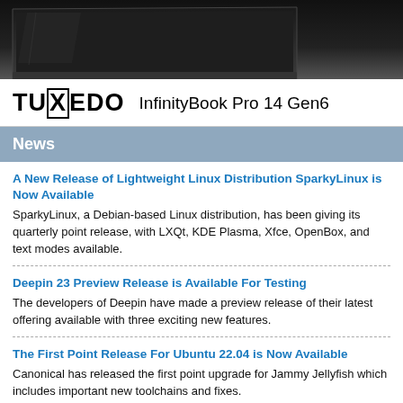[Figure (photo): Laptop computer (TUXEDO InfinityBook Pro 14 Gen6) viewed from above/side angle against dark background]
TUXEDO InfinityBook Pro 14 Gen6
News
A New Release of Lightweight Linux Distribution SparkyLinux is Now Available
SparkyLinux, a Debian-based Linux distribution, has been giving its quarterly point release, with LXQt, KDE Plasma, Xfce, OpenBox, and text modes available.
Deepin 23 Preview Release is Available For Testing
The developers of Deepin have made a preview release of their latest offering available with three exciting new features.
The First Point Release For Ubuntu 22.04 is Now Available
Canonical has released the first point upgrade for Jammy Jellyfish which includes important new toolchains and fixes.
Kali Linux 2022.3 Released
From the creators of the most popular penetration testing...